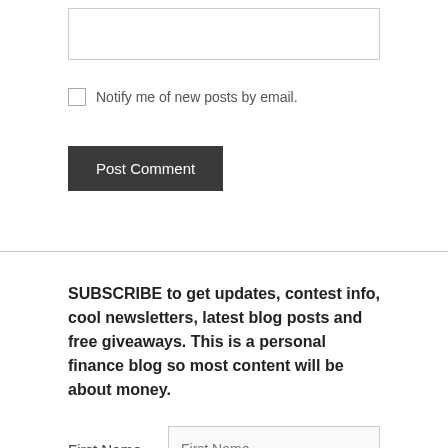[textarea/comment box]
Notify me of new posts by email.
Post Comment
SUBSCRIBE to get updates, contest info, cool newsletters, latest blog posts and free giveaways. This is a personal finance blog so most content will be about money.
First Name